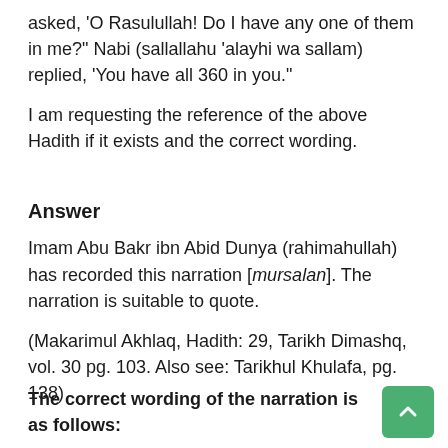asked, ‘O Rasulullah! Do I have any one of them in me?” Nabi (sallallahu ‘alayhi wa sallam) replied, ‘You have all 360 in you.”
I am requesting the reference of the above Hadith if it exists and the correct wording.
Answer
Imam Abu Bakr ibn Abid Dunya (rahimahullah) has recorded this narration [mursalan]. The narration is suitable to quote.
(Makarimul Akhlaq, Hadith: 29, Tarikh Dimashq, vol. 30 pg. 103. Also see: Tarikhul Khulafa, pg. 138)
The correct wording of the narration is as follows: